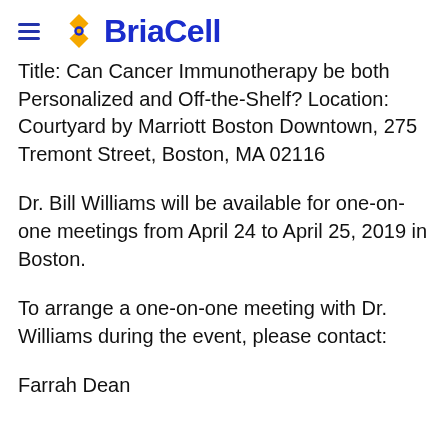BriaCell
Title: Can Cancer Immunotherapy be both Personalized and Off-the-Shelf? Location: Courtyard by Marriott Boston Downtown, 275 Tremont Street, Boston, MA 02116
Dr. Bill Williams will be available for one-on-one meetings from April 24 to April 25, 2019 in Boston.
To arrange a one-on-one meeting with Dr. Williams during the event, please contact:
Farrah Dean